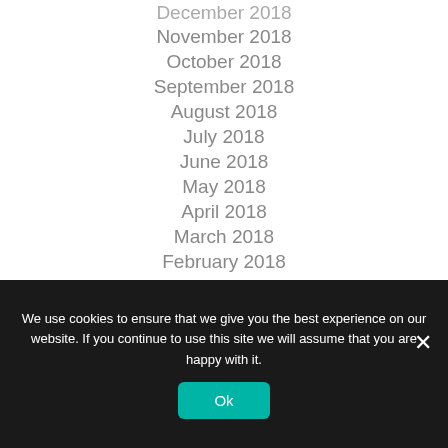December 2018
November 2018
October 2018
September 2018
August 2018
July 2018
June 2018
May 2018
April 2018
March 2018
February 2018
January 2018
We use cookies to ensure that we give you the best experience on our website. If you continue to use this site we will assume that you are happy with it.